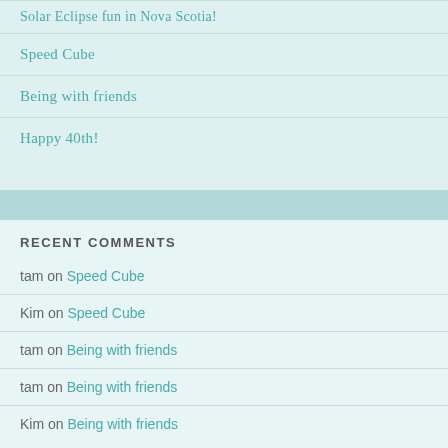Solar Eclipse fun in Nova Scotia!
Speed Cube
Being with friends
Happy 40th!
RECENT COMMENTS
tam on Speed Cube
Kim on Speed Cube
tam on Being with friends
tam on Being with friends
Kim on Being with friends